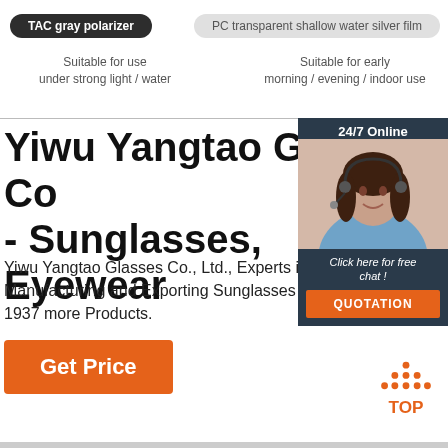TAC gray polarizer
PC transparent shallow water silver film
Suitable for use under strong light / water
Suitable for early morning / evening / indoor use
Yiwu Yangtao Glasses Co. - Sunglasses, Eyewear
Yiwu Yangtao Glasses Co., Ltd., Experts in Manufacturing and Exporting Sunglasses and 1937 more Products.
Get Price
[Figure (screenshot): Chat widget with 24/7 Online, woman with headset photo, Click here for free chat! text, and QUOTATION button]
[Figure (illustration): TOP button with orange triangle dots icon]